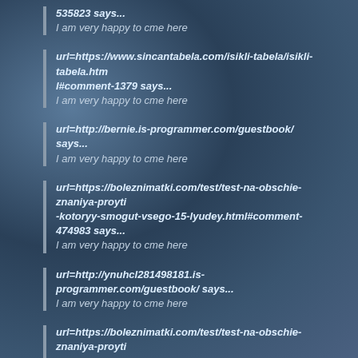535823 says...
I am very happy to cme here
url=https://www.sincantabela.com/isikli-tabela/isikli-tabela.htm l#comment-1379 says...
I am very happy to cme here
url=http://bernie.is-programmer.com/guestbook/ says...
I am very happy to cme here
url=https://boleznimatki.com/test/test-na-obschie-znaniya-proyti -kotoryy-smogut-vsego-15-lyudey.html#comment-474983 says...
I am very happy to cme here
url=http://ynuhcl281498181.is-programmer.com/guestbook/ says...
I am very happy to cme here
url=https://boleznimatki.com/test/test-na-obschie-znaniya-proyti -kotoryy-smogut-vsego-15-lyudey.html#comment-449978 says...
I am very happy to cme here
url=http://alsharq.eu/produkt/kajukatli/#comment-979445 says...
I am very happy to cme here
url=https://cliquemania.com.br/v15/item/Produto-Teste-07.html?ms g#comentario says...
I am very happy to cme here
url=http://barsal.mex.tl/?gb=1#top says...